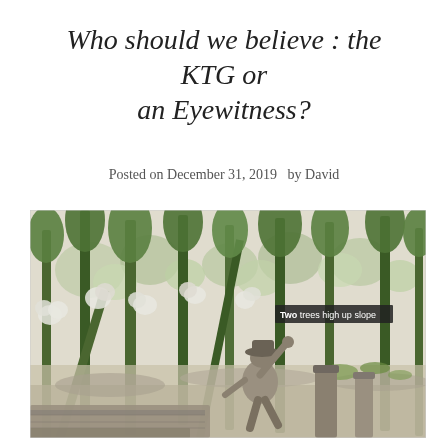Who should we believe : the KTG or an Eyewitness?
Posted on December 31, 2019   by David
[Figure (illustration): A sketch-style illustration showing a forest scene with tall green trees and a figure of a person wearing a hat, working near some wooden posts or stumps in the foreground. A label in the upper right reads 'Two trees high up slope'.]